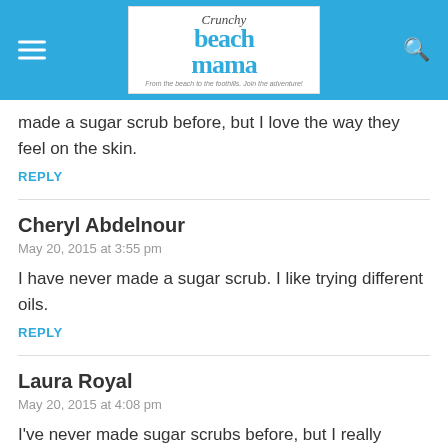[Figure (logo): Crunchy Beach Mama blog logo on blue header bar with hamburger menu and search icon]
made a sugar scrub before, but I love the way they feel on the skin.
REPLY
Cheryl Abdelnour
May 20, 2015 at 3:55 pm
I have never made a sugar scrub. I like trying different oils.
REPLY
Laura Royal
May 20, 2015 at 4:08 pm
I've never made sugar scrubs before, but I really